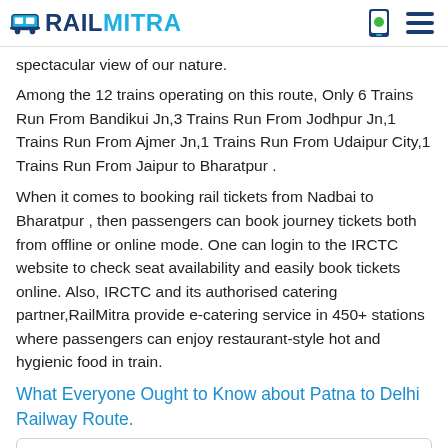RAILMITRA
spectacular view of our nature.
Among the 12 trains operating on this route, Only 6 Trains Run From Bandikui Jn,3 Trains Run From Jodhpur Jn,1 Trains Run From Ajmer Jn,1 Trains Run From Udaipur City,1 Trains Run From Jaipur to Bharatpur .
When it comes to booking rail tickets from Nadbai to Bharatpur , then passengers can book journey tickets both from offline or online mode. One can login to the IRCTC website to check seat availability and easily book tickets online. Also, IRCTC and its authorised catering partner,RailMitra provide e-catering service in 450+ stations where passengers can enjoy restaurant-style hot and hygienic food in train.
What Everyone Ought to Know about Patna to Delhi Railway Route.
How many trains run every day from Nadhai to